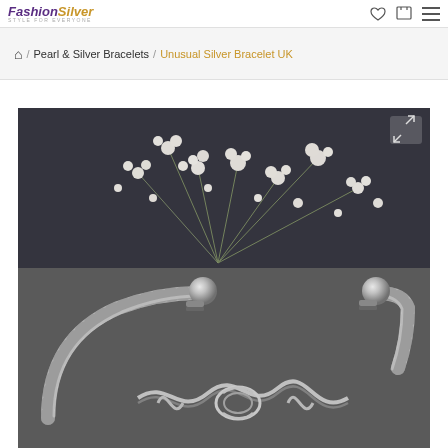Fashion Silver / Pearl & Silver Bracelets / Unusual Silver Bracelet UK
⌂ / Pearl & Silver Bracelets / Unusual Silver Bracelet UK
[Figure (photo): Silver twisted rope bangle bracelet with ball-end tips and knotted silver wire accent, photographed on a grey background with white baby's breath flowers. A zoom/expand icon is visible in the top-right corner of the image.]